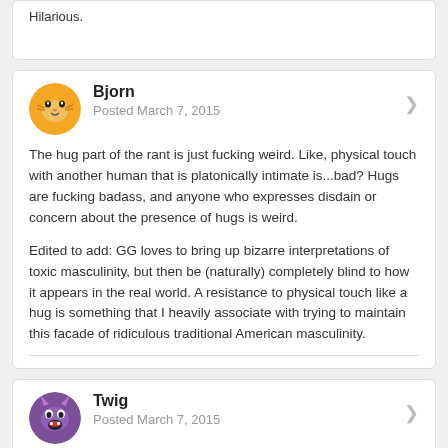Hilarious.
Bjorn
Posted March 7, 2015
The hug part of the rant is just fucking weird.  Like, physical touch with another human that is platonically intimate is...bad?  Hugs are fucking badass, and anyone who expresses disdain or concern about the presence of hugs is weird.
Edited to add: GG loves to bring up bizarre interpretations of toxic masculinity, but then be (naturally) completely blind to how it appears in the real world.  A resistance to physical touch like a hug is something that I heavily associate with trying to maintain this facade of ridiculous traditional American masculinity.
Twig
Posted March 7, 2015